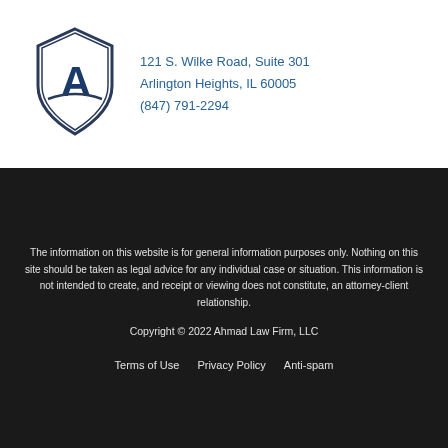[Figure (logo): Ahmad Law Firm shield logo with letter A and swoosh]
121 S. Wilke Road, Suite 301
Arlington Heights, IL 60005
(847) 791-2294
The information on this website is for general information purposes only. Nothing on this site should be taken as legal advice for any individual case or situation. This information is not intended to create, and receipt or viewing does not constitute, an attorney-client relationship.
Copyright © 2022 Ahmad Law Firm, LLC
Terms of Use   Privacy Policy   Anti-spam